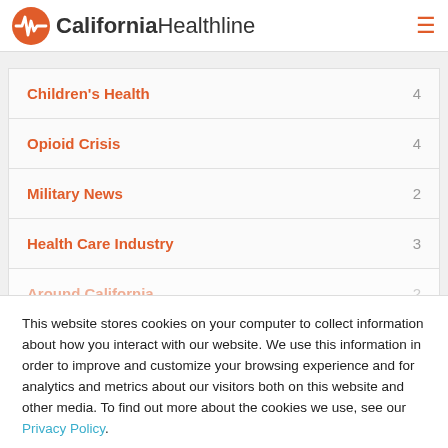California Healthline
Children's Health  4
Opioid Crisis  4
Military News  2
Health Care Industry  3
Around California  2
This website stores cookies on your computer to collect information about how you interact with our website. We use this information in order to improve and customize your browsing experience and for analytics and metrics about our visitors both on this website and other media. To find out more about the cookies we use, see our Privacy Policy.